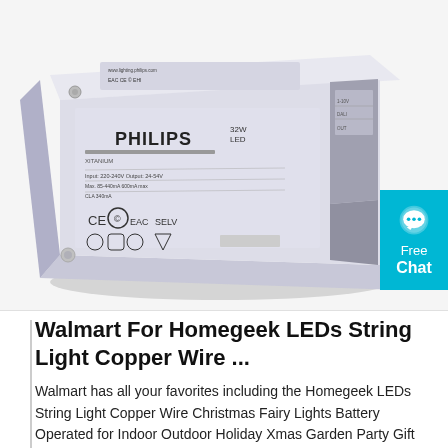[Figure (photo): Philips LED driver/power supply unit, white rectangular box with certification markings (CE, EAC), 32W LED label, and safety symbols on the label. Photographed at an angle against white background.]
Walmart For Homegeek LEDs String Light Copper Wire ...
Walmart has all your favorites including the Homegeek LEDs String Light Copper Wire Christmas Fairy Lights Battery Operated for Indoor Outdoor Holiday Xmas Garden Party Gift Decorations 1M 10 Lights from Homgeek. Get yours today at the Fandom Shop.